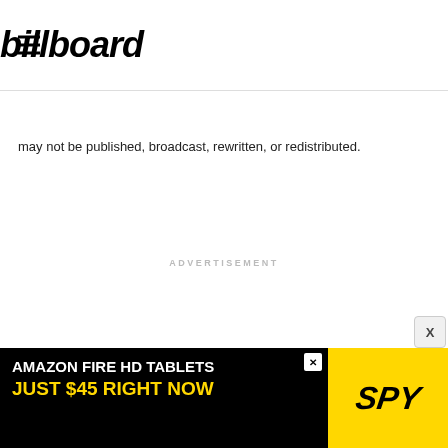billboard
may not be published, broadcast, rewritten, or redistributed.
ADVERTISEMENT
[Figure (other): Amazon Fire HD Tablets advertisement banner: 'AMAZON FIRE HD TABLETS JUST $45 RIGHT NOW' with SPY logo on yellow background]